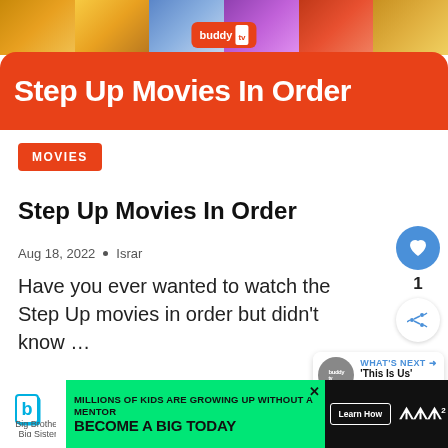[Figure (illustration): BuddyTV banner header showing colorful dance/movie imagery with 'buddy tv' logo and 'Step Up Movies In Order' title on orange-red rounded background]
MOVIES
Step Up Movies In Order
Aug 18, 2022 • Israr
Have you ever wanted to watch the Step Up movies in order but didn't know …
[Figure (infographic): Advertisement banner: Big Brothers Big Sisters logo, green background with text 'MILLIONS OF KIDS ARE GROWING UP WITHOUT A MENTOR BECOME A BIG TODAY' with Learn How button, and Tidal music logo on right]